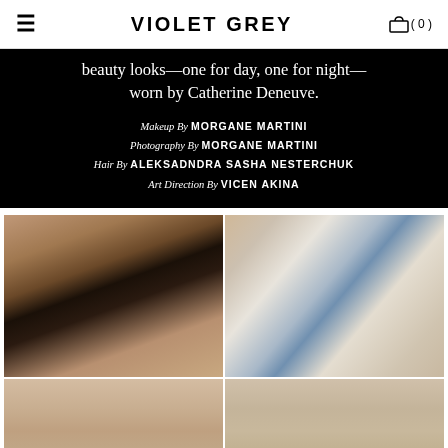VIOLET GREY
beauty looks—one for day, one for night—worn by Catherine Deneuve.

Makeup By MORGANE MARTINI
Photography By MORGANE MARTINI
Hair By ALEKSADNDRA SASHA NESTERCHUK
Art Direction By VICEN AKINA
[Figure (photo): Top-left: close-up of a woman's face showing dark eye makeup, a red lip, and an earring. Top-right: close-up of a blue eye with dramatic lashes and liner. Bottom-left and bottom-right: partial close-ups of a woman's face, cropped at the bottom of the page.]